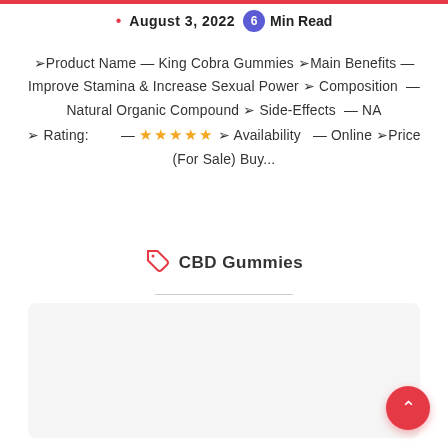August 3, 2022 · 6 Min Read
➢Product Name — King Cobra Gummies ➢Main Benefits — Improve Stamina & Increase Sexual Power ➢Composition — Natural Organic Compound ➢Side-Effects — NA ➢Rating: — ★★★★★ ➢Availability — Online ➢Price (For Sale) Buy...
CBD Gummies
[Figure (infographic): Light grey card area with a purple stats badge showing 0 comments, 6 likes, 10 views, and a pink FAB back-to-top button in the bottom right.]